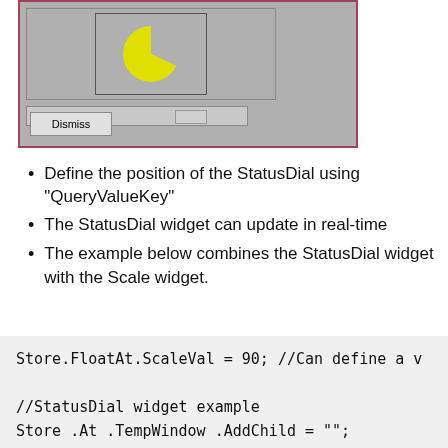[Figure (screenshot): A dialog box with a pink/red border on a grey background, containing a pie chart (mostly yellow with a grey slice), a horizontal scrollbar, and a 'Dismiss' button.]
Define the position of the StatusDial using "QueryValueKey"
The StatusDial widget can update in real-time
The example below combines the StatusDial widget with the Scale widget.
Store.FloatAt.ScaleVal = 90; //Can define a v

//StatusDial widget example
Store .At .TempWindow .AddChild = "";
Store .At .TempWindow .WidgetList.Last = {